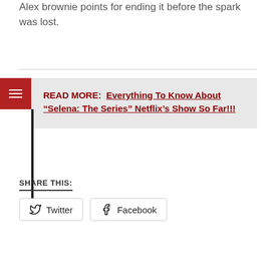Alex brownie points for ending it before the spark was lost.
READ MORE:  Everything To Know About “Selena: The Series” Netflix’s Show So Far!!!
SHARE THIS:
Twitter
Facebook